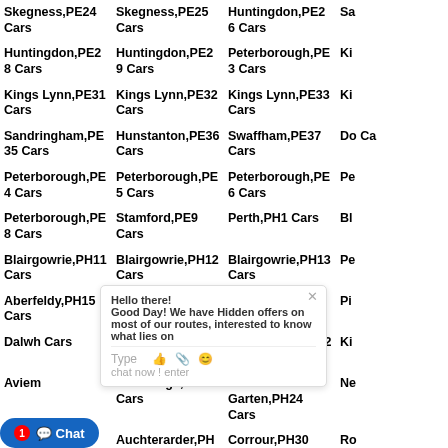| Skegness,PE24 Cars | Skegness,PE25 Cars | Huntingdon,PE26 Cars | Sa… |
| Huntingdon,PE28 Cars | Huntingdon,PE29 Cars | Peterborough,PE3 Cars | Ki… |
| Kings Lynn,PE31 Cars | Kings Lynn,PE32 Cars | Kings Lynn,PE33 Cars | Ki… |
| Sandringham,PE35 Cars | Hunstanton,PE36 Cars | Swaffham,PE37 Cars | Do… Ca… |
| Peterborough,PE4 Cars | Peterborough,PE5 Cars | Peterborough,PE6 Cars | Pe… |
| Peterborough,PE8 Cars | Stamford,PE9 Cars | Perth,PH1 Cars | Bl… |
| Blairgowrie,PH11 Cars | Blairgowrie,PH12 Cars | Blairgowrie,PH13 Cars | Pe… |
| Aberfeldy,PH15 Cars | Pitlochry,PH16 Cars | Pitlochry,PH17 Cars | Pi… |
| Dalwh… Cars | Perth,PH2 Cars | Newtonmore,PH20 Cars | Ki… |
| Aviem… | Carrbridge,PH23 Cars | Boat Of Garten,PH24 Cars | Ne… |
| Grant… Spey,P… | Auchterarder,PH3 Cars | Corrour,PH30 Cars | Ro… |
| Fort A… Cars | Fort William,PH33 Cars | Spean Bridge,PH34 Cars | In… |
| A… PH36 Cars | Lochailort,PH38 Cars | Arisaig,PH39 Cars | Au… |
| Mallaig,PH40 Cars | Mallaig,PH41 Cars | Isle Of Skye,PH42 Cars | … |